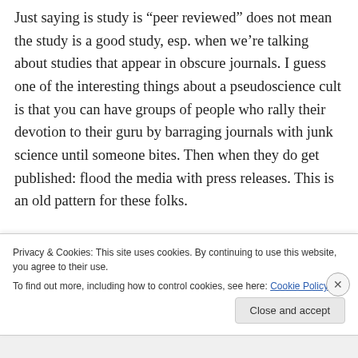Just saying is study is “peer reviewed” does not mean the study is a good study, esp. when we’re talking about studies that appear in obscure journals. I guess one of the interesting things about a pseudoscience cult is that you can have groups of people who rally their devotion to their guru by barraging journals with junk science until someone bites. Then when they do get published: flood the media with press releases. This is an old pattern for these folks.
Privacy & Cookies: This site uses cookies. By continuing to use this website, you agree to their use. To find out more, including how to control cookies, see here: Cookie Policy